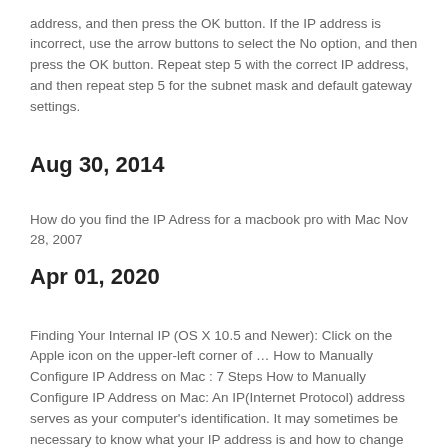address, and then press the OK button. If the IP address is incorrect, use the arrow buttons to select the No option, and then press the OK button. Repeat step 5 with the correct IP address, and then repeat step 5 for the subnet mask and default gateway settings.
Aug 30, 2014
How do you find the IP Adress for a macbook pro with Mac Nov 28, 2007
Apr 01, 2020
Finding Your Internal IP (OS X 10.5 and Newer): Click on the Apple icon on the upper-left corner of … How to Manually Configure IP Address on Mac : 7 Steps How to Manually Configure IP Address on Mac: An IP(Internet Protocol) address serves as your computer's identification. It may sometimes be necessary to know what your IP address is and how to change